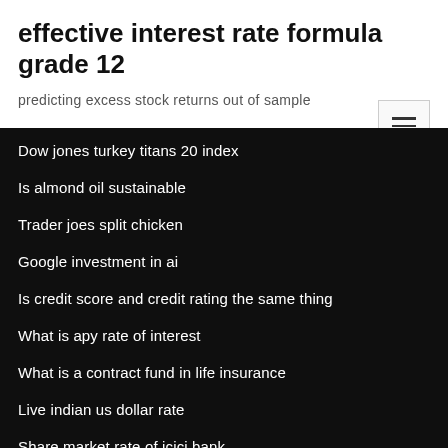effective interest rate formula grade 12
predicting excess stock returns out of sample
Dow jones turkey titans 20 index
Is almond oil sustainable
Trader joes split chicken
Google investment in ai
Is credit score and credit rating the same thing
What is apy rate of interest
What is a contract fund in life insurance
Live indian us dollar rate
Share market rate of icici bank